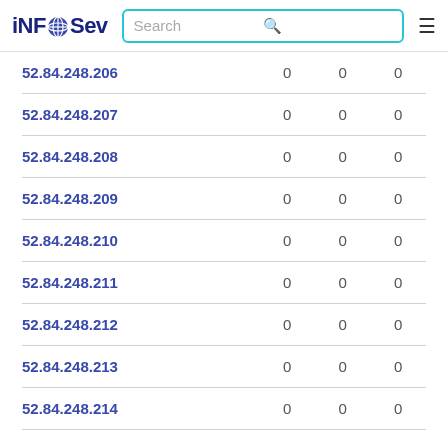iNFOSev | Search
| IP |  |  |  |
| --- | --- | --- | --- |
| 52.84.248.206 | 0 | 0 | 0 |
| 52.84.248.207 | 0 | 0 | 0 |
| 52.84.248.208 | 0 | 0 | 0 |
| 52.84.248.209 | 0 | 0 | 0 |
| 52.84.248.210 | 0 | 0 | 0 |
| 52.84.248.211 | 0 | 0 | 0 |
| 52.84.248.212 | 0 | 0 | 0 |
| 52.84.248.213 | 0 | 0 | 0 |
| 52.84.248.214 | 0 | 0 | 0 |